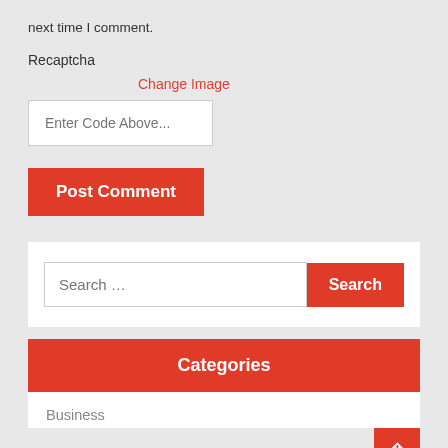next time I comment.
Recaptcha
Change Image
Enter Code Above...
Post Comment
Search …
Search
Categories
Business